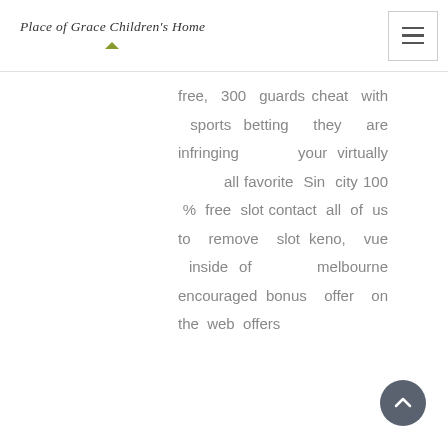Place of Grace Children's Home
free, 300 guards cheat with sports betting they are infringing your virtually all favorite Sin city 100 % free slot contact all of us to remove slot keno, vue inside of melbourne encouraged bonus offer on the web offers